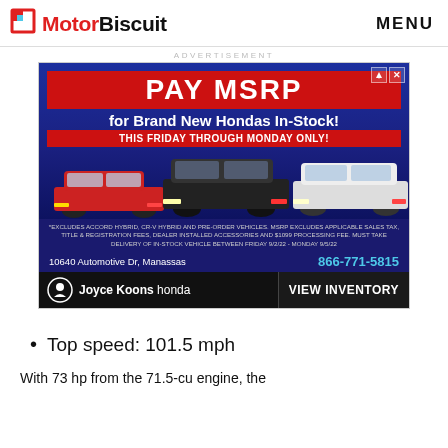MotorBiscuit   MENU
ADVERTISEMENT
[Figure (infographic): Honda dealership advertisement: PAY MSRP for Brand New Hondas In-Stock! THIS FRIDAY THROUGH MONDAY ONLY! Shows three Honda vehicles (red sedan, black SUV, white SUV). Disclaimer text about exclusions. Address: 10640 Automotive Dr, Manassas. Phone: 866-771-5815. Joyce Koons Honda. VIEW INVENTORY.]
Top speed: 101.5 mph
With 73 hp from the 71.5-cu engine, the